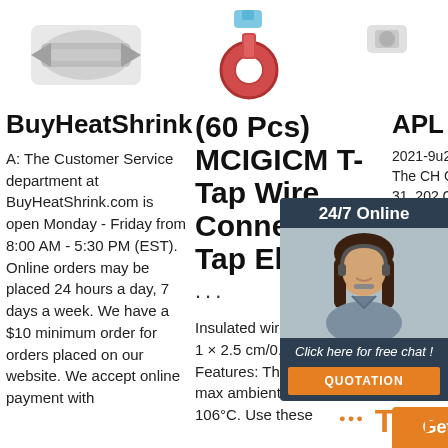[Figure (photo): Top row of product images: heat shrink connectors on left, ring terminal connector in center]
BuyHeatShrink
A: The Customer Service department at BuyHeatShrink.com is open Monday - Friday from 8:00 AM - 5:30 PM (EST). Online orders may be placed 24 hours a day, 7 days a week. We have a $10 minimum order for orders placed on our website. We accept online payment with
(60 Pcs) MCIGICM T-Tap Wire Connectors T Tap Electrical
... Insulated wire terminal size: 1 × 2.5 cm/0.39' × 0.98' Features: The wire terminals max ambient temperature is 106°C. Use these
APL
2021-9u2002 June 2 BETTE The CH Group' signatu Tuesda 31, 202 Guam, Northe Islands Market: Fuel Adjustment Factor effective 1 ...
[Figure (photo): Customer service representative with headset, dark background, 24/7 Online banner, Click here for free chat, QUOTATION button]
24/7 Online
Click here for free chat !
QUOTATION
Get Price